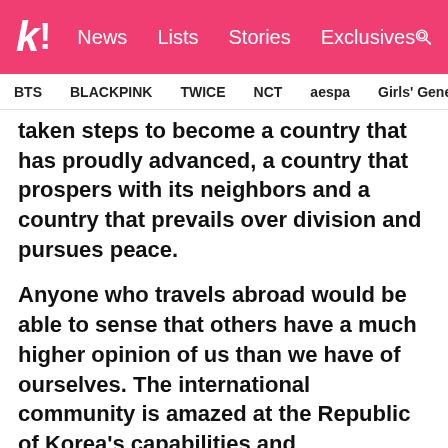k! News Lists Stories Exclusives | BTS BLACKPINK TWICE NCT aespa Girls' Generation
taken steps to become a country that has proudly advanced, a country that prospers with its neighbors and a country that prevails over division and pursues peace.
Anyone who travels abroad would be able to sense that others have a much higher opinion of us than we have of ourselves. The international community is amazed at the Republic of Korea's capabilities and achievements in many fields, including the economy, epidemic prevention and